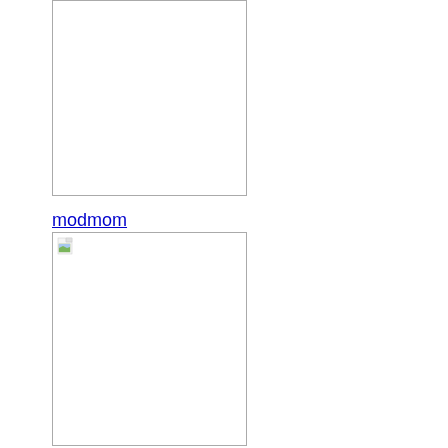[Figure (other): Empty white image placeholder box with border, top section]
modmom
[Figure (other): Image placeholder box with broken image icon (small landscape thumbnail) in top-left corner, border visible]